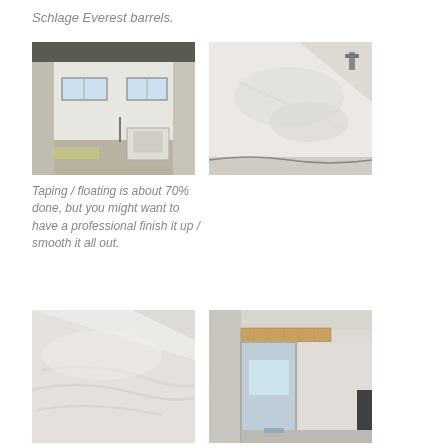Schlage Everest barrels.
[Figure (photo): Interior room under construction with drywall, two small windows, and equipment on the floor]
[Figure (photo): Close-up of drywall wall surface with taping work in progress]
Taping / floating is about 70% done, but you might want to have a professional finish it up / smooth it all out.
[Figure (photo): Close-up of drywall surface showing floating/taping texture]
[Figure (photo): Interior construction view showing door frame with wood beam header and partially finished drywall walls]